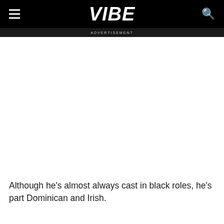VIBE
Although he's almost always cast in black roles, he's part Dominican and Irish.
He's from Staten Island, New York, which explains